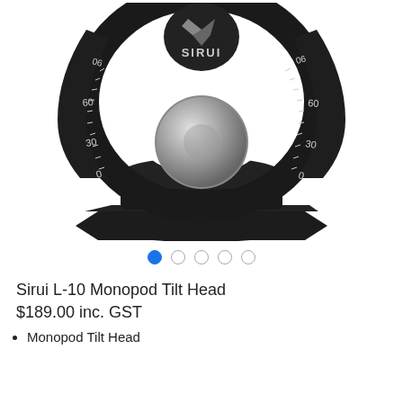[Figure (photo): Close-up product photo of a Sirui L-10 Monopod Tilt Head, showing a black precision camera head with circular degree markings (0, 30, 60, 90) on both sides, a silver cylindrical knob in the center, the SIRUI logo and bird emblem at the top, and a black hexagonal base.]
● ○ ○ ○ ○
Sirui L-10 Monopod Tilt Head
$189.00 inc. GST
Monopod Tilt Head